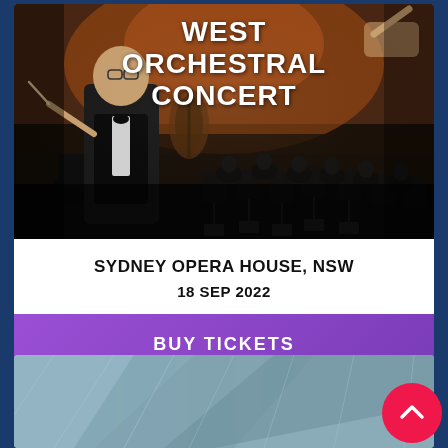[Figure (photo): Orchestra concert photo with conductor and musicians performing, dark stage lighting with warm background. Large bold white text overlay reading WEST ORCHESTRAL CONCERT.]
WEST ORCHESTRAL CONCERT
SYDNEY OPERA HOUSE, NSW
18 SEP 2022
BUY TICKETS
[Figure (photo): Partial view of a second event card with blue-grey background, partially visible at bottom of page.]